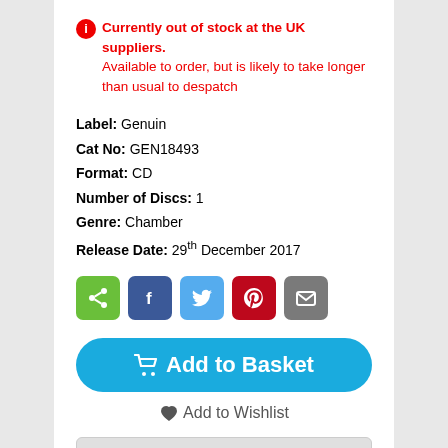ℹ Currently out of stock at the UK suppliers. Available to order, but is likely to take longer than usual to despatch
Label: Genuin
Cat No: GEN18493
Format: CD
Number of Discs: 1
Genre: Chamber
Release Date: 29th December 2017
[Figure (infographic): Social share buttons: share (green), Facebook (blue), Twitter (light blue), Pinterest (red), email (grey)]
Add to Basket
Add to Wishlist
Contents
About